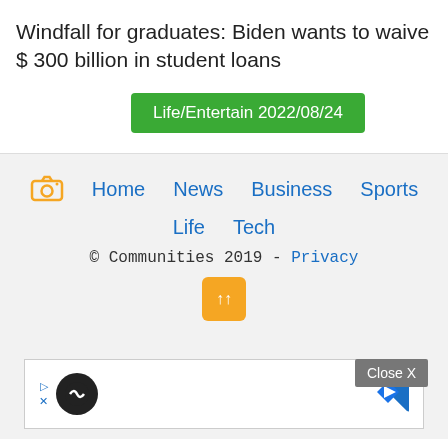Windfall for graduates: Biden wants to waive $ 300 billion in student loans
Life/Entertain 2022/08/24
Home  News  Business  Sports  Life  Tech  © Communities 2019 - Privacy